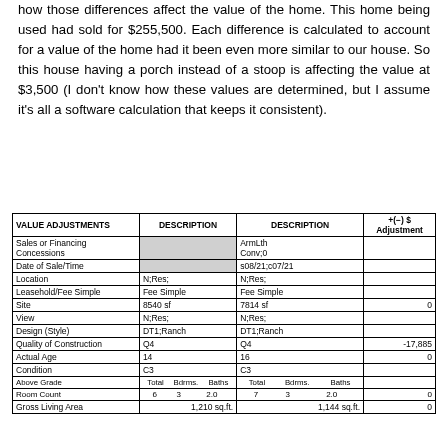how those differences affect the value of the home. This home being used had sold for $255,500. Each difference is calculated to account for a value of the home had it been even more similar to our house. So this house having a porch instead of a stoop is affecting the value at $3,500 (I don't know how these values are determined, but I assume it's all a software calculation that keeps it consistent).
| VALUE ADJUSTMENTS | DESCRIPTION | DESCRIPTION | +(‑) $ Adjustment |
| --- | --- | --- | --- |
| Sales or Financing Concessions |  | ArmLth Conv;0 |  |
| Date of Sale/Time |  | s08/21;c07/21 |  |
| Location | N;Res; | N;Res; |  |
| Leasehold/Fee Simple | Fee Simple | Fee Simple |  |
| Site | 8540 sf | 7814 sf | 0 |
| View | N;Res; | N;Res; |  |
| Design (Style) | DT1;Ranch | DT1;Ranch |  |
| Quality of Construction | Q4 | Q4 | -17,885 |
| Actual Age | 14 | 16 | 0 |
| Condition | C3 | C3 |  |
| Above Grade | Total Bdrms. Baths | Total Bdrms. Baths |  |
| Room Count | 6  3  2.0 | 7  3  2.0 | 0 |
| Gross Living Area | 1,210 sq.ft. | 1,144 sq.ft. | 0 |